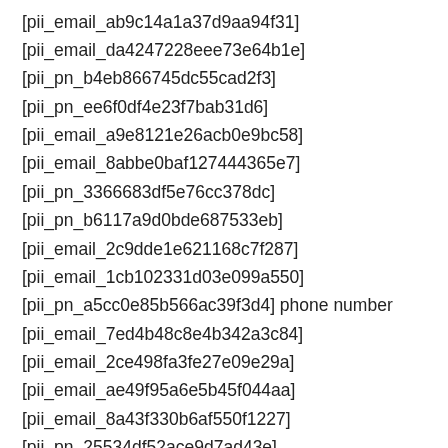[pii_email_ab9c14a1a37d9aa94f31]
[pii_email_da4247228eee73e64b1e]
[pii_pn_b4eb866745dc55cad2f3]
[pii_pn_ee6f0df4e23f7bab31d6]
[pii_email_a9e8121e26acb0e9bc58]
[pii_email_8abbe0baf127444365e7]
[pii_pn_3366683df5e76cc378dc]
[pii_pn_b6117a9d0bde687533eb]
[pii_email_2c9dde1e621168c7f287]
[pii_email_1cb102331d03e099a550]
[pii_pn_a5cc0e85b566ac39f3d4] phone number
[pii_email_7ed4b48c8e4b342a3c84]
[pii_email_2ce498fa3fe27e09e29a]
[pii_email_ae49f95a6e5b45f044aa]
[pii_email_8a43f330b6af550f1227]
[pii_pn_25534df52ace9d7ad43e]